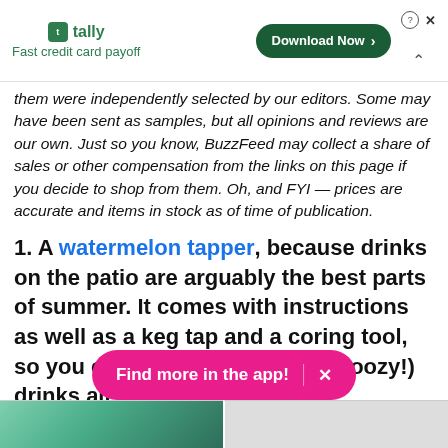[Figure (other): Tally app advertisement banner with logo, 'Fast credit card payoff' tagline, and 'Download Now' button]
them were independently selected by our editors. Some may have been sent as samples, but all opinions and reviews are our own. Just so you know, BuzzFeed may collect a share of sales or other compensation from the links on this page if you decide to shop from them. Oh, and FYI — prices are accurate and items in stock as of time of publication.
1. A watermelon tapper, because drinks on the patio are arguably the best parts of summer. It comes with instructions as well as a keg tap and a coring tool, so you can sip fruity (possibly boozy!) drinks all summe
[Figure (photo): App promotion pill button: 'Find more in the app!' with close X button]
[Figure (photo): Bottom image strip showing partial photos]